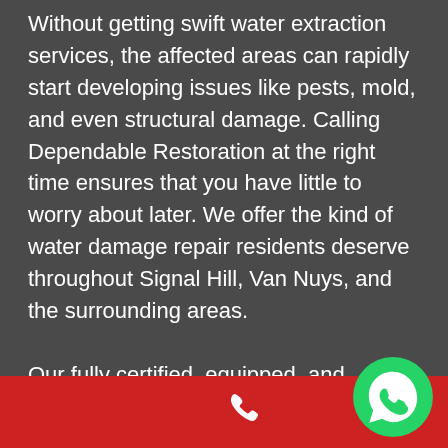Without getting swift water extraction services, the affected areas can rapidly start developing issues like pests, mold, and even structural damage. Calling Dependable Restoration at the right time ensures that you have little to worry about later. We offer the kind of water damage repair residents deserve throughout Signal Hill, Van Nuys, and the surrounding areas.

Our fully certified, equipped, and experienced experts are ready to assess the damage and be available to help you throughout the whole process. We'll even take on the wearisome task of handling your insurance issues, so you'll be free of the hassle. From the beginning to the
[Figure (other): Red footer bar with white phone handset icon on center-left and WhatsApp logo (green speech bubble with phone) on the bottom right.]